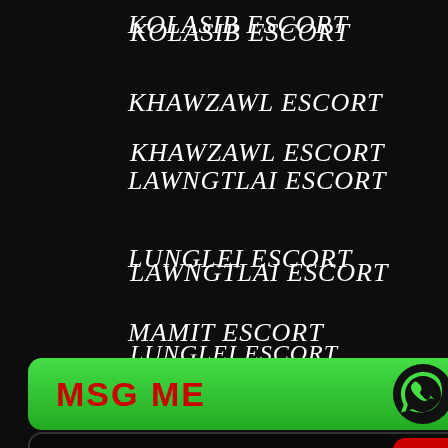KOLASIB ESCORT
KHAWZAWL ESCORT
LAWNGTLAI ESCORT
LUNGLEI ESCORT
MAMIT ESCORT
SAIHA ESCORT
[Figure (infographic): Green WhatsApp-style button with MSG ME text and phone icon]
[Figure (infographic): Black CALL NOW button with red phone icon]